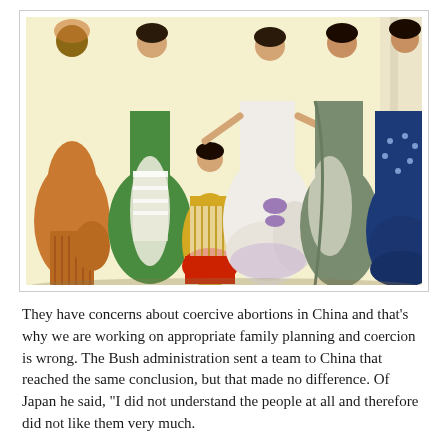[Figure (illustration): A Victorian-era fashion illustration showing a group of women and a child in elaborate 19th-century ball gowns and dresses in various colors including green, brown/orange, white, lavender/purple, grey-green, and dark blue, with ornate details, lace, and ribbons.]
They have concerns about coercive abortions in China and that's why we are working on appropriate family planning and coercion is wrong. The Bush administration sent a team to China that reached the same conclusion, but that made no difference. Of Japan he said, "I did not understand the people at all and therefore did not like them very much.
Family Planning Summit Could Mark Turning Point for